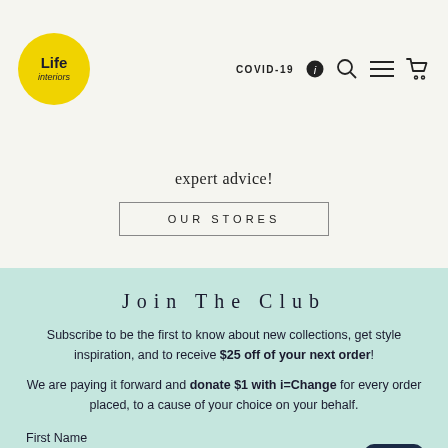Life Interiors — COVID-19 header navigation
expert advice!
OUR STORES
Join The Club
Subscribe to be the first to know about new collections, get style inspiration, and to receive $25 off of your next order!
We are paying it forward and donate $1 with i=Change for every order placed, to a cause of your choice on your behalf.
First Name
Last Name